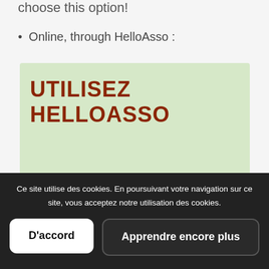choose this option!
Online, through HelloAsso :
[Figure (other): Light green box with text UTILISEZ HELLOASSO in bold dark red/brown letters]
Ce site utilise des cookies. En poursuivant votre navigation sur ce site, vous acceptez notre utilisation des cookies.
D'accord
Apprendre encore plus